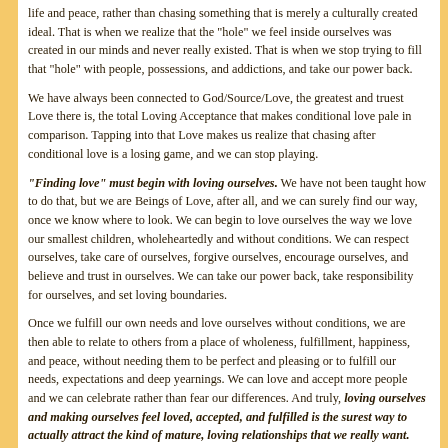life and peace, rather than chasing something that is merely a culturally created ideal. That is when we realize that the "hole" we feel inside ourselves was created in our minds and never really existed. That is when we stop trying to fill that "hole" with people, possessions, and addictions, and take our power back.
We have always been connected to God/Source/Love, the greatest and truest Love there is, the total Loving Acceptance that makes conditional love pale in comparison. Tapping into that Love makes us realize that chasing after conditional love is a losing game, and we can stop playing.
"Finding love" must begin with loving ourselves. We have not been taught how to do that, but we are Beings of Love, after all, and we can surely find our way, once we know where to look. We can begin to love ourselves the way we love our smallest children, wholeheartedly and without conditions. We can respect ourselves, take care of ourselves, forgive ourselves, encourage ourselves, and believe and trust in ourselves. We can take our power back, take responsibility for ourselves, and set loving boundaries.
Once we fulfill our own needs and love ourselves without conditions, we are then able to relate to others from a place of wholeness, fulfillment, happiness, and peace, without needing them to be perfect and pleasing or to fulfill our needs, expectations and deep yearnings. We can love and accept more people and we can celebrate rather than fear our differences. And truly, loving ourselves and making ourselves feel loved, accepted, and fulfilled is the surest way to actually attract the kind of mature, loving relationships that we really want.
All of our relationships with others are a reflection of our relationship